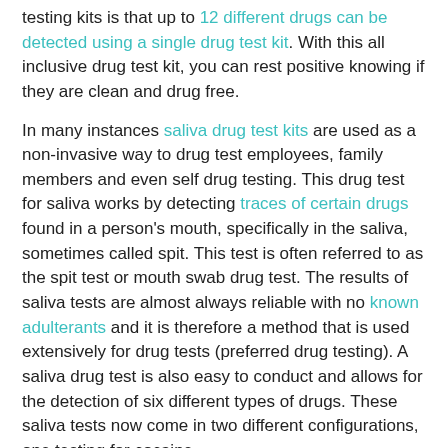testing kits is that up to 12 different drugs can be detected using a single drug test kit. With this all inclusive drug test kit, you can rest positive knowing if they are clean and drug free.
In many instances saliva drug test kits are used as a non-invasive way to drug test employees, family members and even self drug testing. This drug test for saliva works by detecting traces of certain drugs found in a person's mouth, specifically in the saliva, sometimes called spit. This test is often referred to as the spit test or mouth swab drug test. The results of saliva tests are almost always reliable with no known adulterants and it is therefore a method that is used extensively for drug tests (preferred drug testing). A saliva drug test is also easy to conduct and allows for the detection of six different types of drugs. These saliva tests now come in two different configurations, one testing for cocaine,